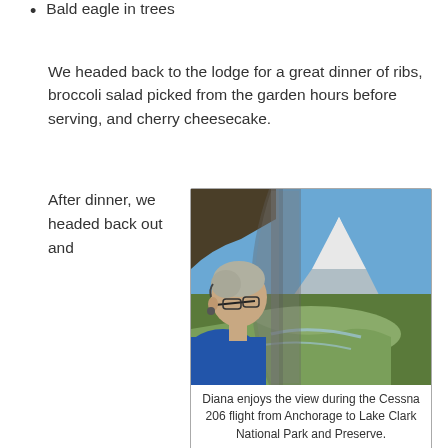Bald eagle in trees
We headed back to the lodge for a great dinner of ribs, broccoli salad picked from the garden hours before serving, and cherry cheesecake.
After dinner, we headed back out and
[Figure (photo): A person (Diana) looks out the window of a Cessna 206 small aircraft, with a snow-capped mountain and river delta visible through the window under a blue sky.]
Diana enjoys the view during the Cessna 206 flight from Anchorage to Lake Clark National Park and Preserve.